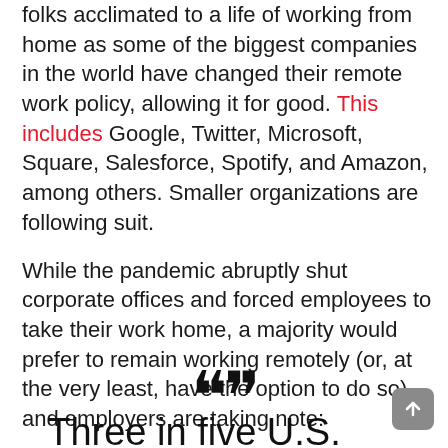folks acclimated to a life of working from home as some of the biggest companies in the world have changed their remote work policy, allowing it for good. This includes Google, Twitter, Microsoft, Square, Salesforce, Spotify, and Amazon, among others. Smaller organizations are following suit.
While the pandemic abruptly shut corporate offices and forced employees to take their work home, a majority would prefer to remain working remotely (or, at the very least, have the option to do so) and employers are taking note:
““
Three in five U.S. workers who